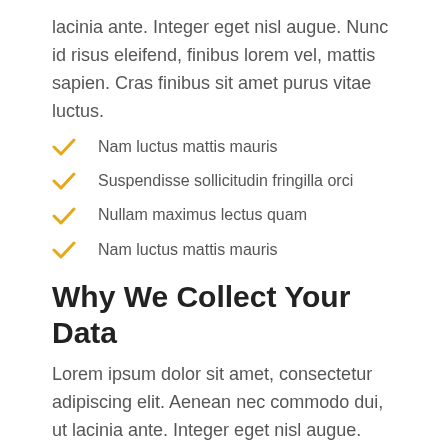lacinia ante. Integer eget nisl augue. Nunc id risus eleifend, finibus lorem vel, mattis sapien. Cras finibus sit amet purus vitae luctus.
Nam luctus mattis mauris
Suspendisse sollicitudin fringilla orci
Nullam maximus lectus quam
Nam luctus mattis mauris
Why We Collect Your Data
Lorem ipsum dolor sit amet, consectetur adipiscing elit. Aenean nec commodo dui, ut lacinia ante. Integer eget nisl augue. Nunc id risus eleifend, finibus lorem vel, mattis sapien. Cras